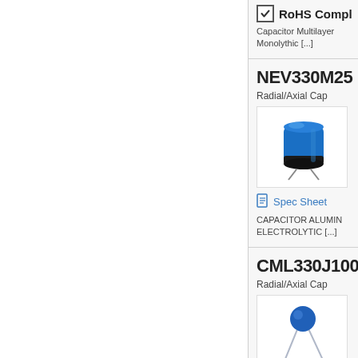RoHS Compl[iant]
Capacitor Multilayer Monolythic [...]
NEV330M25
Radial/Axial Cap
[Figure (photo): Blue cylindrical electrolytic capacitor with leads]
Spec Sheet
CAPACITOR ALUM[INUM] ELECTROLYTIC [...]
CML330J100
Radial/Axial Cap
[Figure (photo): Blue ceramic disc capacitor with two wire leads]
CAPACITOR MULTILA[YER] MONOLYTHIC [...]